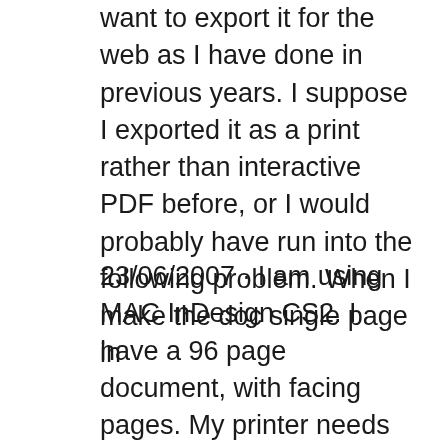want to export it for the web as I have done in previous years. I suppose I exported it as a print rather than interactive PDF before, or I would probably have run into the following problem. When I make the doc single page in
23/06/2007 · I am using MAC InDesign CS2. I have a 96 page document, with facing pages. My printer needs individual pages instead of facing pages. When I use document setup to "uncheck" facing pages, it converts to single pages, but all of the objects on my left had pages shift about 0.5 cm. to the let. any correction pages, single page PDF files are acceptable. • Hard